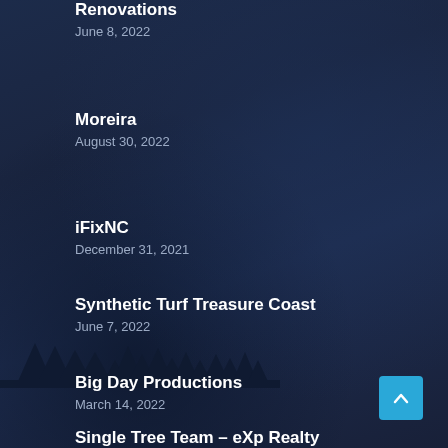Renovations
June 8, 2022
Moreira
August 30, 2022
iFixNC
December 31, 2021
Synthetic Turf Treasure Coast
June 7, 2022
Big Day Productions
March 14, 2022
Single Tree Team – eXp Realty